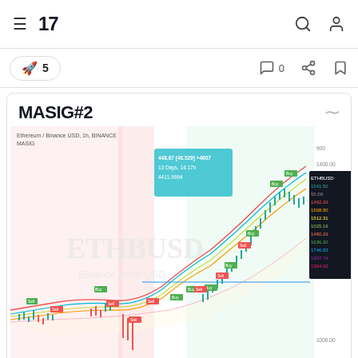TradingView navigation header with hamburger menu, TV logo, search and account icons
🚀 5   💬 0   share   bookmark
MASIG#2
[Figure (continuous-plot): ETH/BUSD 1h BINANCE candlestick chart with MASIG indicator. Shows upward trend from dates 12-21. Multiple colored moving average lines (red, cyan, yellow). Green and red signal labels on bars. Pink shaded sell zone on left, green shaded buy zone on right. Blue horizontal support line. Tooltip showing: 448.67 [46.529] +4607, 13 Days, 14:17h, 4411.9994. Price scale on right showing values from ~900 to ~1600. ETHBUSD label with 1541.50, 55.08, 1492.29, 1508.80, 1512.31, 1025.16, 1480.29, 1636.20, 1746.83, 1297.74, 1364.92. Background watermark text: ETHBUSD and Binance price USD.]